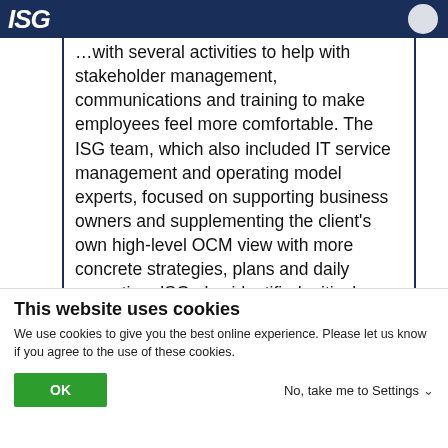ISG
...with several activities to help with stakeholder management, communications and training to make employees feel more comfortable. The ISG team, which also included IT service management and operating model experts, focused on supporting business owners and supplementing the client’s own high-level OCM view with more concrete strategies, plans and daily execution. ISG also identified critical...
This website uses cookies
We use cookies to give you the best online experience. Please let us know if you agree to the use of these cookies.
OK | No, take me to Settings